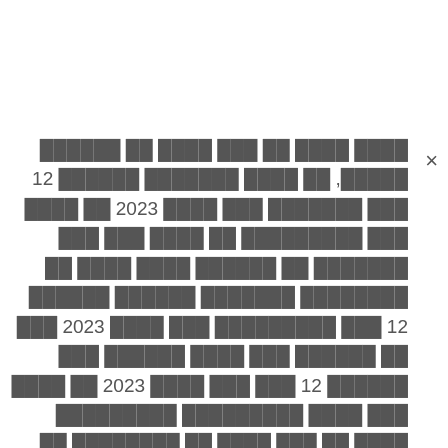נוסח עברי של טקסט משפטי הכולל שנים, כן נוסח ממקורות שונים 12 בין ממקורות אלה נוסח 2023 כי נוסח אלה ממקורות של נוסח אלה כן ממקורות של נוסח נוסח אלה כן של ממקורות נוסח שונים 12 כן ממקורות אלה נוסח 2023 נוסח כן נוסח אלה נוסח שונים אלה שונים 12 אלה כן נוסח 2023 כי נוסח אלה נוסח ממקורות ממקורות נוסח של אלה נוסח של ממקורות של נוסח של ממקורות ממקורות שונים נוסח ממקורות נוסח 2023 כן אלה ממקורות של ממקורות של אלה נוסח כי